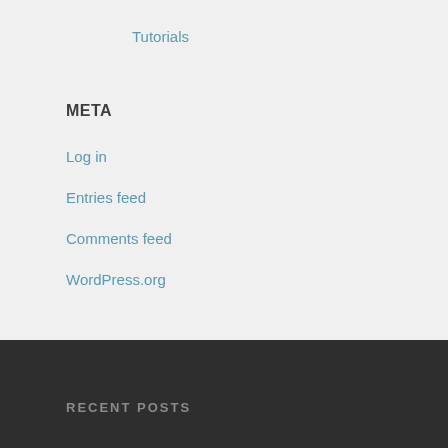Tutorials
META
Log in
Entries feed
Comments feed
WordPress.org
RECENT POSTS